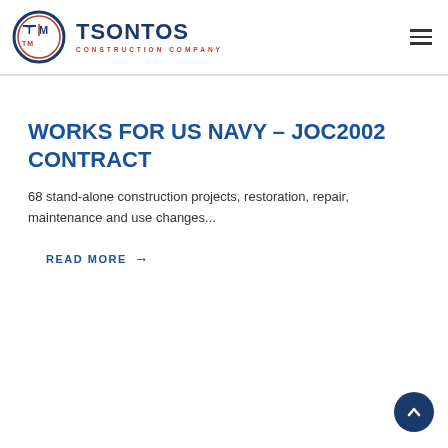TSONTOS CONSTRUCTION COMPANY
WORKS FOR US NAVY – JOC2002 CONTRACT
68 stand-alone construction projects, restoration, repair, maintenance and use changes...
READ MORE →